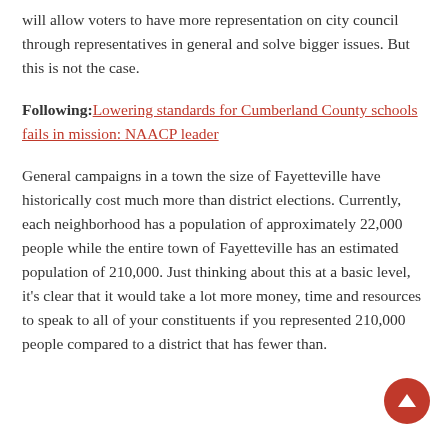will allow voters to have more representation on city council through representatives in general and solve bigger issues. But this is not the case.
Following: Lowering standards for Cumberland County schools fails in mission: NAACP leader
General campaigns in a town the size of Fayetteville have historically cost much more than district elections. Currently, each neighborhood has a population of approximately 22,000 people while the entire town of Fayetteville has an estimated population of 210,000. Just thinking about this at a basic level, it's clear that it would take a lot more money, time and resources to speak to all of your constituents if you represented 210,000 people compared to a district that has fewer than.